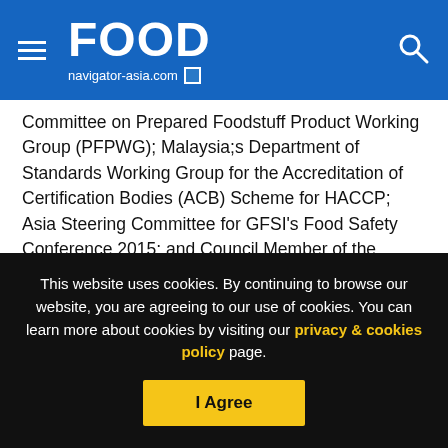FOOD navigator-asia.com
Committee on Prepared Foodstuff Product Working Group (PFPWG); Malaysia;s Department of Standards Working Group for the Accreditation of Certification Bodies (ACB) Scheme for HACCP; Asia Steering Committee for GFSI’s Food Safety Conference 2015; and Council Member of the International Halal Foundation (IHF).
Dr Siti is an active member of the Malaysian Institute of Food Technology (MIFT). She has served in different roles since 2004 culminating as the President of MIFT for the 2014/2016
This website uses cookies. By continuing to browse our website, you are agreeing to our use of cookies. You can learn more about cookies by visiting our privacy & cookies policy page.
I Agree